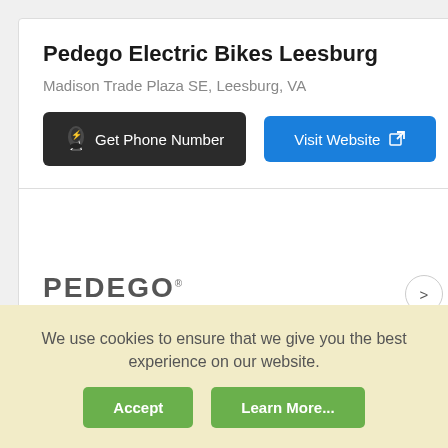Pedego Electric Bikes Leesburg
Madison Trade Plaza SE, Leesburg, VA
Get Phone Number
Visit Website
[Figure (logo): Pedego Electric Bikes logo with PEDEGO in large bold gray letters and ELECTRIC BIKES in small spaced letters below]
We use cookies to ensure that we give you the best experience on our website.
Accept
Learn More...